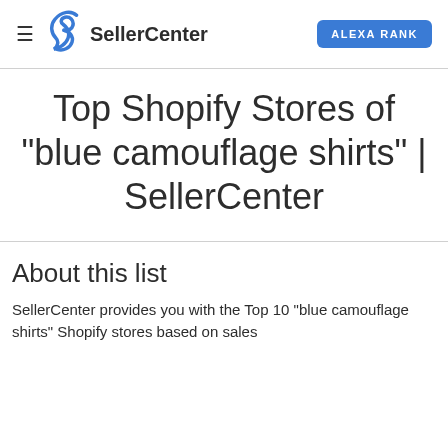≡  SellerCenter  ALEXA RANK
Top Shopify Stores of "blue camouflage shirts" | SellerCenter
About this list
SellerCenter provides you with the Top 10 "blue camouflage shirts" Shopify stores based on sales